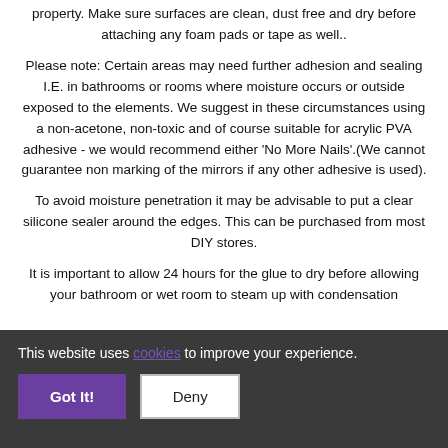property. Make sure surfaces are clean, dust free and dry before attaching any foam pads or tape as well..
Please note: Certain areas may need further adhesion and sealing I.E. in bathrooms or rooms where moisture occurs or outside exposed to the elements. We suggest in these circumstances using a non-acetone, non-toxic and of course suitable for acrylic PVA adhesive - we would recommend either 'No More Nails'.(We cannot guarantee non marking of the mirrors if any other adhesive is used).
To avoid moisture penetration it may be advisable to put a clear silicone sealer around the edges. This can be purchased from most DIY stores.
It is important to allow 24 hours for the glue to dry before allowing your bathroom or wet room to steam up with condensation
This website uses cookies to improve your experience.
Got It!
Deny